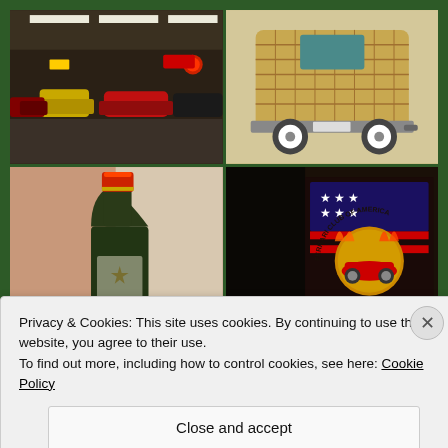[Figure (photo): Four-photo grid on dark green background: top-left shows classic cars in a showroom/museum with colorful vintage vehicles; top-right shows a wicker-bodied car from the rear; bottom-left shows a wine bottle with red cap; bottom-right shows a Ferrari Club of America logo/badge with American flag design and red Ferrari car illustration]
Privacy & Cookies: This site uses cookies. By continuing to use this website, you agree to their use.
To find out more, including how to control cookies, see here: Cookie Policy
Close and accept
BROWSING